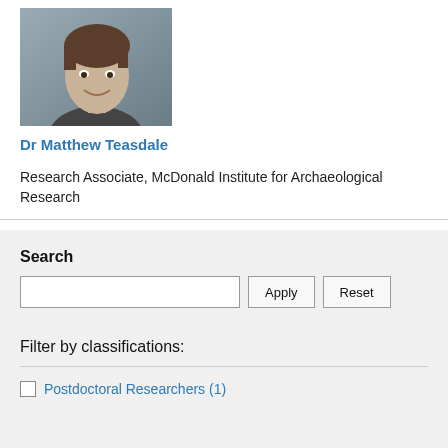[Figure (photo): Headshot photo of Dr Matthew Teasdale, a young man smiling, outdoors with building visible in background]
Dr Matthew Teasdale
Research Associate, McDonald Institute for Archaeological Research
Search
Filter by classifications:
Postdoctoral Researchers (1)